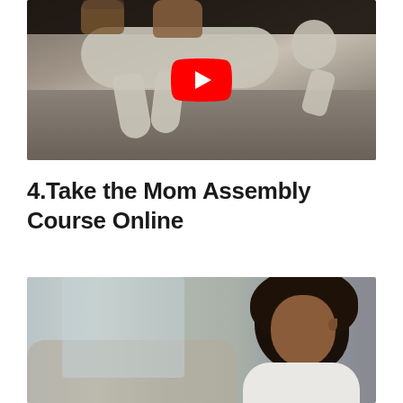[Figure (photo): Video thumbnail showing hands performing CPR on a baby mannequin lying on a dark surface, with a YouTube play button overlay in the center]
4.Take the Mom Assembly Course Online
[Figure (photo): Photo of a young Black woman with natural curly hair, looking to the side in a thoughtful pose, with a blurred background showing chairs or furniture]